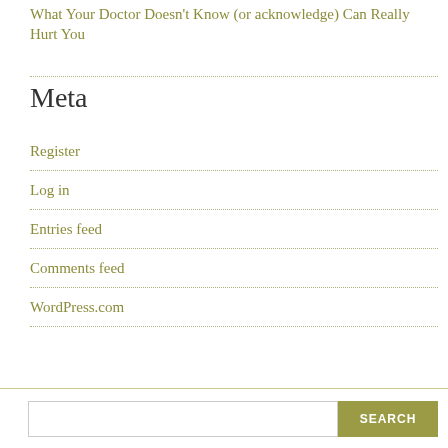What Your Doctor Doesn't Know (or acknowledge) Can Really Hurt You
Meta
Register
Log in
Entries feed
Comments feed
WordPress.com